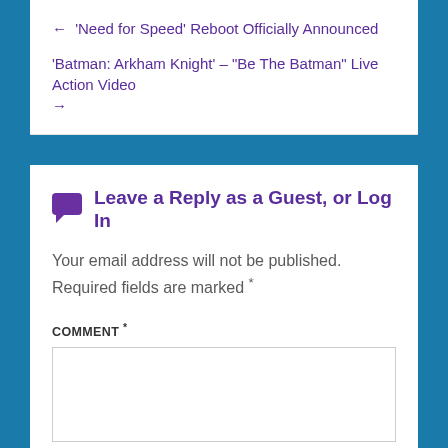← 'Need for Speed' Reboot Officially Announced
'Batman: Arkham Knight' – "Be The Batman" Live Action Video →
Leave a Reply as a Guest, or Log In
Your email address will not be published. Required fields are marked *
COMMENT *